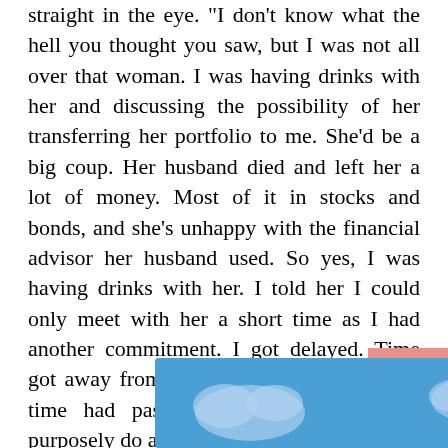straight in the eye. "I don't know what the hell you thought you saw, but I was not all over that woman. I was having drinks with her and discussing the possibility of her transferring her portfolio to me. She'd be a big coup. Her husband died and left her a lot of money. Most of it in stocks and bonds, and she's unhappy with the financial advisor her husband used. So yes, I was having drinks with her. I told her I could only meet with her a short time as I had another commitment. I got delayed. Time got away from me. I had no idea so much time had passed, baby. I would never purposely do anything to hurt you. You have to believe that."
"But y[...] er and over a[...] ds the
[Figure (illustration): Blue sky background with white clouds illustration, partially overlapping the bottom text]